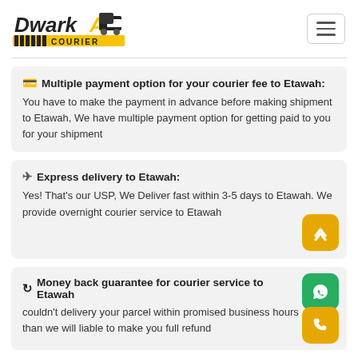[Figure (logo): Dwarka Courier logo with truck graphic and yellow striped banner]
Multiple payment option for your courier fee to Etawah: You have to make the payment in advance before making shipment to Etawah, We have multiple payment option for getting paid to you for your shipment
Express delivery to Etawah: Yes! That's our USP, We Deliver fast within 3-5 days to Etawah. We provide overnight courier service to Etawah
Money back guarantee for courier service to Etawah: couldn't delivery your parcel within promised business hours than we will liable to make you full refund